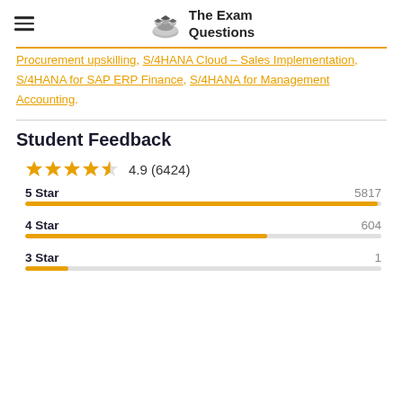The Exam Questions
Procurement upskilling, S/4HANA Cloud – Sales Implementation, S/4HANA for SAP ERP Finance, S/4HANA for Management Accounting.
Student Feedback
[Figure (other): Star rating: 4.9 out of 5 (6424 reviews)]
| Stars | Count |
| --- | --- |
| 5 Star | 5817 |
| 4 Star | 604 |
| 3 Star | 1 |